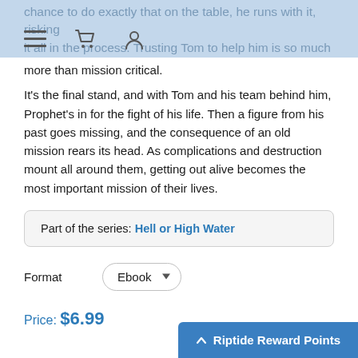chance to do exactly that on the table, he runs with it, risking it all in the process. Trusting Tom to help him is so much more than mission critical.
It's the final stand, and with Tom and his team behind him, Prophet's in for the fight of his life. Then a figure from his past goes missing, and the consequence of an old mission rears its head. As complications and destruction mount all around them, getting out alive becomes the most important mission of their lives.
Part of the series: Hell or High Water
Format   Ebook
Price: $6.99
Riptide Reward Points